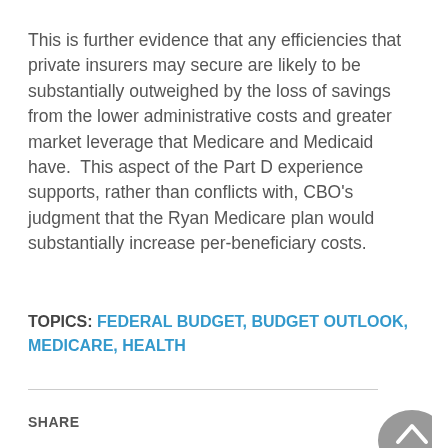This is further evidence that any efficiencies that private insurers may secure are likely to be substantially outweighed by the loss of savings from the lower administrative costs and greater market leverage that Medicare and Medicaid have.  This aspect of the Part D experience supports, rather than conflicts with, CBO's judgment that the Ryan Medicare plan would substantially increase per-beneficiary costs.
TOPICS: FEDERAL BUDGET, BUDGET OUTLOOK, MEDICARE, HEALTH
SHARE